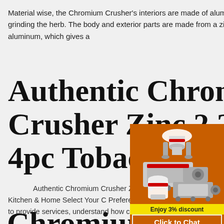Material wise, the Chromium Crusher's interiors are made of aluminum, a strong metal that's perfect for grinding the herb. The body and exterior parts are made from a zinc alloy, heavier and more durable than aluminum, which gives a
Authentic Chromium Crusher Zinc 2.2" 4pc Tobacco Spice
Authentic Chromium Crusher Zinc 2.2" 4pc Spice Herb Grinder with Lifetime Warranty: Amazon.co.uk: Kitchen & Home Select Your Cookie Preferences We use cookies and similar tools to enhance your shopping experience, to provide our services, understand how customers use our services so we can make improvements, and display a
[Figure (infographic): Orange advertisement panel with images of industrial crushing machines, a yellow 'Enjoy 3% discount' banner, 'Click to Chat' button, 'Enquiry' section, and contact email limingjlmofen@sina.com]
Chromium Crusher